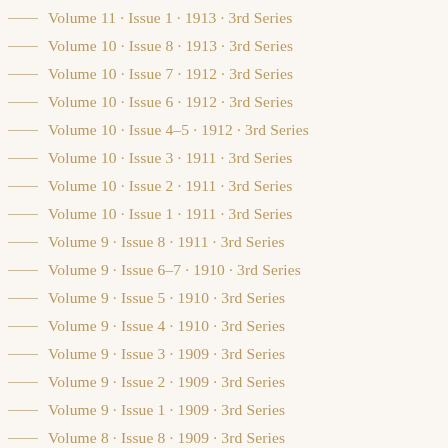Volume 11 · Issue 1 · 1913 · 3rd Series
Volume 10 · Issue 8 · 1913 · 3rd Series
Volume 10 · Issue 7 · 1912 · 3rd Series
Volume 10 · Issue 6 · 1912 · 3rd Series
Volume 10 · Issue 4–5 · 1912 · 3rd Series
Volume 10 · Issue 3 · 1911 · 3rd Series
Volume 10 · Issue 2 · 1911 · 3rd Series
Volume 10 · Issue 1 · 1911 · 3rd Series
Volume 9 · Issue 8 · 1911 · 3rd Series
Volume 9 · Issue 6–7 · 1910 · 3rd Series
Volume 9 · Issue 5 · 1910 · 3rd Series
Volume 9 · Issue 4 · 1910 · 3rd Series
Volume 9 · Issue 3 · 1909 · 3rd Series
Volume 9 · Issue 2 · 1909 · 3rd Series
Volume 9 · Issue 1 · 1909 · 3rd Series
Volume 8 · Issue 8 · 1909 · 3rd Series